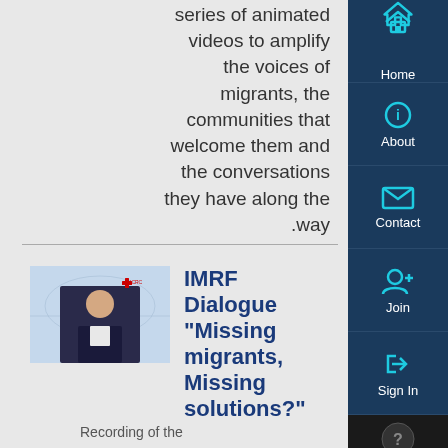series of animated videos to amplify the voices of migrants, the communities that welcome them and the conversations they have along the way.
[Figure (screenshot): Screenshot of a man in a dark suit against a world map background, ICRC branding visible, video thumbnail]
IMRF Dialogue "Missing migrants, Missing solutions?"
Recording of the
[Figure (other): Navigation sidebar with Home, About, Contact, Join, Sign In, and Help buttons on dark navy background]